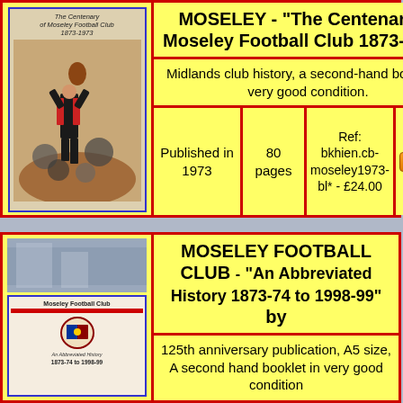[Figure (photo): Book cover of 'The Centenary of Moseley Football Club 1873-1973' showing a rugby player catching a ball]
MOSELEY - "The Centenary of Moseley Football Club 1873-1973"
Midlands club history, a second-hand booklet in very good condition.
| Published in 1973 | 80 pages | Ref: bkhien.cb-moseley1973-bl* - £24.00 | Add to Cart |
| --- | --- | --- | --- |
[Figure (photo): Book cover of 'Moseley Football Club - An Abbreviated History 1873-74 to 1998-99' showing club crest]
MOSELEY FOOTBALL CLUB - "An Abbreviated History 1873-74 to 1998-99" by
125th anniversary publication, A5 size, A second hand booklet in very good condition